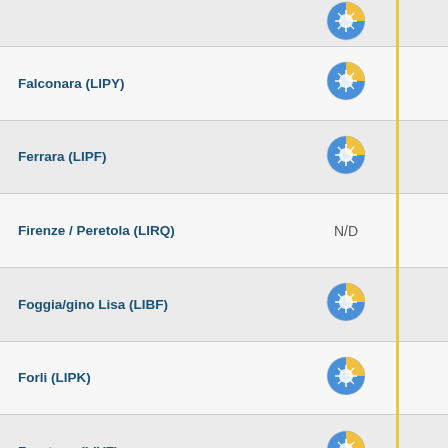| Location | Condition | Date/Time |
| --- | --- | --- |
| (partial top row) | weather icon | 10:16 |
| Falconara (LIPY) | weather icon | 18-08-2022 10:20 |
| Ferrara (LIPF) | weather icon | 18-08-2022 09:55 |
| Firenze / Peretola (LIRQ) | N/D | 18-08-2022 10:20 |
| Foggia/gino Lisa (LIBF) | weather icon | 18-08-2022 09:50 |
| Forli (LIPK) | weather icon | 18-08-2022 09:50 |
| Frontone (LIVF) | weather icon | 18-08-2022 09:55 |
| Frosinone (LIRH) | weather icon | 18-08-2022 09:55 |
| Genova / Sestri (LIMJ) | weather icon | 18-08-2022 10:20 |